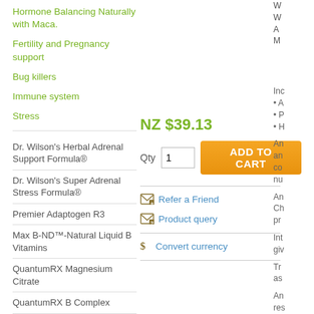Hormone Balancing Naturally with Maca.
Fertility and Pregnancy support
Bug killers
Immune system
Stress
Dr. Wilson's Herbal Adrenal Support Formula®
Dr. Wilson's Super Adrenal Stress Formula®
Premier Adaptogen R3
Max B-ND™-Natural Liquid B Vitamins
QuantumRX Magnesium Citrate
QuantumRX B Complex
Biotrace Relax Complete Formula
NZ $39.13
Qty 1  ADD TO CART
Refer a Friend
Product query
Convert currency
Inc
• A
• P
• H
An an co nu
An Ch pr
Int giv
Tr as
An res fur